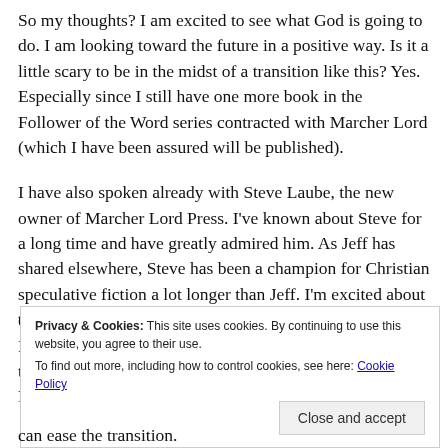So my thoughts? I am excited to see what God is going to do. I am looking toward the future in a positive way. Is it a little scary to be in the midst of a transition like this? Yes. Especially since I still have one more book in the Follower of the Word series contracted with Marcher Lord (which I have been assured will be published).
I have also spoken already with Steve Laube, the new owner of Marcher Lord Press. I've known about Steve for a long time and have greatly admired him. As Jeff has shared elsewhere, Steve has been a champion for Christian speculative fiction a lot longer than Jeff. I'm excited about the things Steve hopes to bring to Marcher Lord Press.
Privacy & Cookies: This site uses cookies. By continuing to use this website, you agree to their use.
To find out more, including how to control cookies, see here: Cookie Policy
[Close and accept]
can ease the transition.